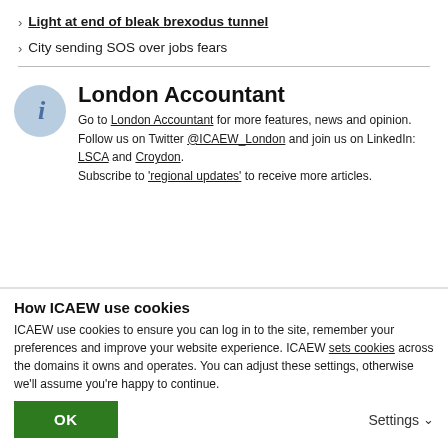Light at end of bleak brexodus tunnel
City sending SOS over jobs fears
London Accountant
Go to London Accountant for more features, news and opinion.
Follow us on Twitter @ICAEW_London and join us on LinkedIn: LSCA and Croydon.
Subscribe to 'regional updates' to receive more articles.
How ICAEW use cookies
ICAEW use cookies to ensure you can log in to the site, remember your preferences and improve your website experience. ICAEW sets cookies across the domains it owns and operates. You can adjust these settings, otherwise we'll assume you're happy to continue.